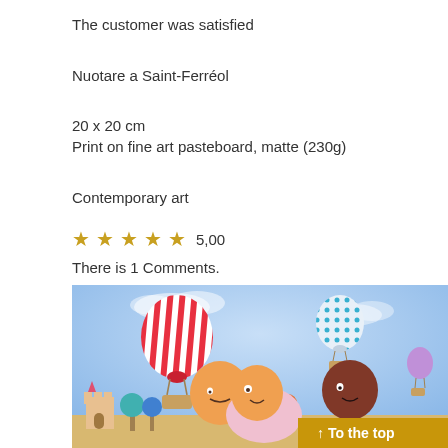The customer was satisfied
Nuotare a Saint-Ferréol
20 x 20 cm
Print on fine art pasteboard, matte (230g)
Contemporary art
★★★★★  5,00
There is 1 Comments.
[Figure (illustration): Colorful illustration showing children with round orange and pink heads in a cheerful landscape with hot air balloons in a blue sky, colorful trees, and a small castle]